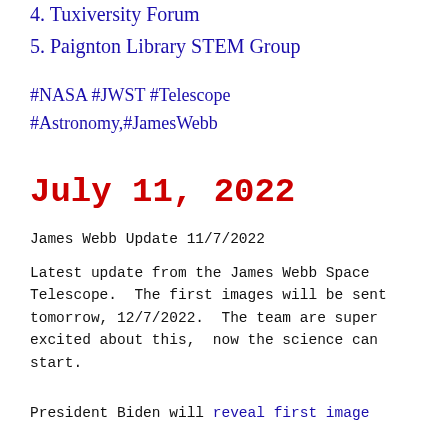4. Tuxiversity Forum
5. Paignton Library STEM Group
#NASA #JWST #Telescope #Astronomy,#JamesWebb
July 11, 2022
James Webb Update 11/7/2022
Latest update from the James Webb Space Telescope.  The first images will be sent tomorrow, 12/7/2022.  The team are super excited about this,  now the science can start.
President Biden will reveal first image